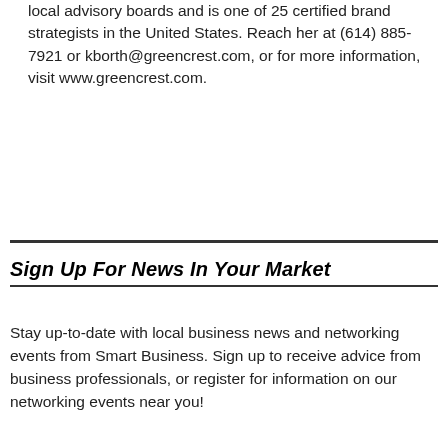local advisory boards and is one of 25 certified brand strategists in the United States. Reach her at (614) 885-7921 or kborth@greencrest.com, or for more information, visit www.greencrest.com.
Sign Up For News In Your Market
Stay up-to-date with local business news and networking events from Smart Business. Sign up to receive advice from business professionals, or register for information on our networking events near you!